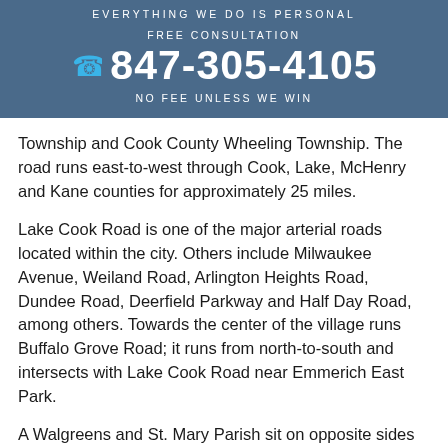Everything we do is personal
FREE CONSULTATION
847-305-4105
NO FEE UNLESS WE WIN
Township and Cook County Wheeling Township. The road runs east-to-west through Cook, Lake, McHenry and Kane counties for approximately 25 miles.
Lake Cook Road is one of the major arterial roads located within the city. Others include Milwaukee Avenue, Weiland Road, Arlington Heights Road, Dundee Road, Deerfield Parkway and Half Day Road, among others. Towards the center of the village runs Buffalo Grove Road; it runs from north-to-south and intersects with Lake Cook Road near Emmerich East Park.
A Walgreens and St. Mary Parish sit on opposite sides